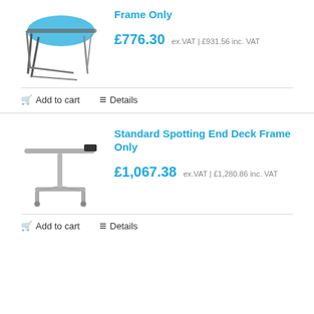[Figure (photo): Trampoline frame with blue mat visible, metal frame structure, partial view at top]
Frame Only
£776.30 ex.VAT | £931.56 inc. VAT
Add to cart   Details
[Figure (photo): Standard spotting end deck frame, metal adjustable stand with wheels, gray/silver color]
Standard Spotting End Deck Frame Only
£1,067.38 ex.VAT | £1,280.86 inc. VAT
Add to cart   Details